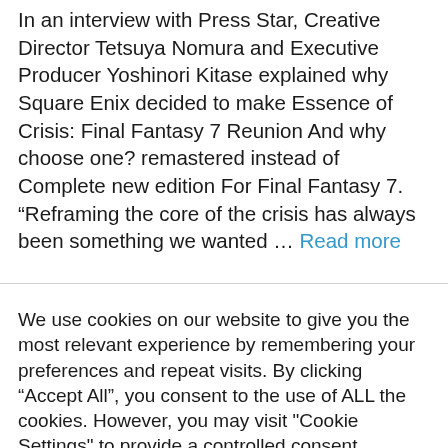In an interview with Press Star, Creative Director Tetsuya Nomura and Executive Producer Yoshinori Kitase explained why Square Enix decided to make Essence of Crisis: Final Fantasy 7 Reunion And why choose one? remastered instead of Complete new edition For Final Fantasy 7. “Reframing the core of the crisis has always been something we wanted … Read more
We use cookies on our website to give you the most relevant experience by remembering your preferences and repeat visits. By clicking “Accept All”, you consent to the use of ALL the cookies. However, you may visit "Cookie Settings" to provide a controlled consent.